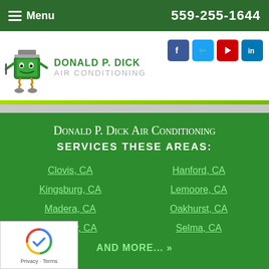Menu  559-255-1644
[Figure (logo): Donald P. Dick Air Conditioning logo with cartoon mascot and social media icons (Facebook, Twitter, YouTube, LinkedIn)]
Donald P. Dick Air Conditioning services these areas:
Clovis, CA
Hanford, CA
Kingsburg, CA
Lemoore, CA
Madera, CA
Oakhurst, CA
Reedley, CA
Selma, CA
AND MORE... »